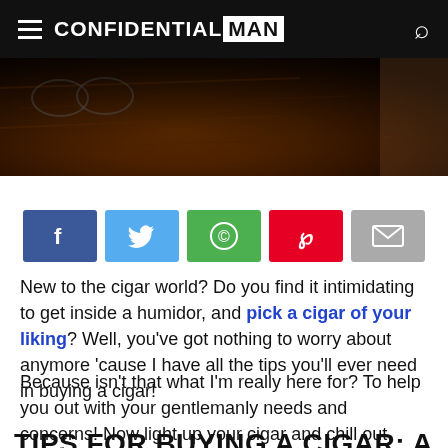CONFIDENTIAL MAN
[Figure (photo): Dark background hero photo showing cigars/wooden humidor box in warm brown tones]
[Figure (infographic): Social sharing buttons: Facebook (blue), Twitter (light blue), WhatsApp (green), Pinterest (red), Email (gray)]
New to the cigar world? Do you find it intimidating to get inside a humidor, and pick a cigar of your liking? Well, you’ve got nothing to worry about anymore ’cause I have all the tips you’ll ever need in buying a cigar!
Because isn’t that what I’m really here for? To help you out with your gentlemanly needs and concerns! Now light up your cigar and chill out while you read all about tips for buying a cigar!
TIPS FOR BUYING A CIGAR: A…